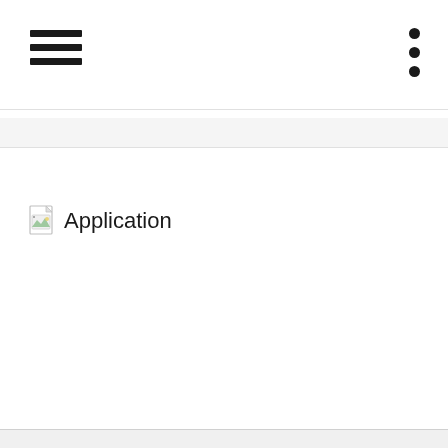[Figure (screenshot): Hamburger menu icon (three horizontal lines) in the top left of a navigation bar]
[Figure (screenshot): Three-dot vertical menu icon in the top right of a navigation bar]
[Figure (screenshot): A broken image icon followed by the text 'Application' — a page/file icon with a small landscape thumbnail placeholder]
Application